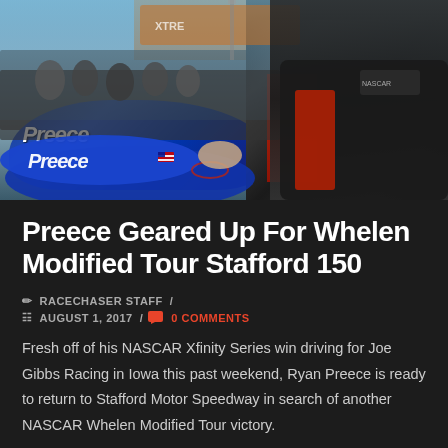[Figure (photo): Ryan Preece signing autographs on his blue NASCAR race car (with 'Preece' written on the side), with a crowd of fans and a driver in a black and red racing jacket in the background near a track facility building.]
Preece Geared Up For Whelen Modified Tour Stafford 150
✏ RACECHASER STAFF / 📅 AUGUST 1, 2017 / 💬 0 COMMENTS
Fresh off of his NASCAR Xfinity Series win driving for Joe Gibbs Racing in Iowa this past weekend, Ryan Preece is ready to return to Stafford Motor Speedway in search of another NASCAR Whelen Modified Tour victory.